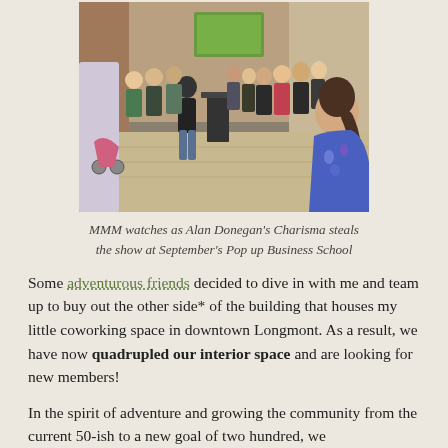[Figure (photo): Outdoor gathering of people watching a presenter standing at a tall desk/podium in a courtyard. Crowd stands in a rough semicircle. Brick walls and a screen visible in background.]
MMM watches as Alan Donegan's Charisma steals the show at September's Pop up Business School
Some adventurous friends decided to dive in with me and team up to buy out the other side* of the building that houses my little coworking space in downtown Longmont. As a result, we have now quadrupled our interior space and are looking for new members!
In the spirit of adventure and growing the community from the current 50-ish to a new goal of two hundred, we